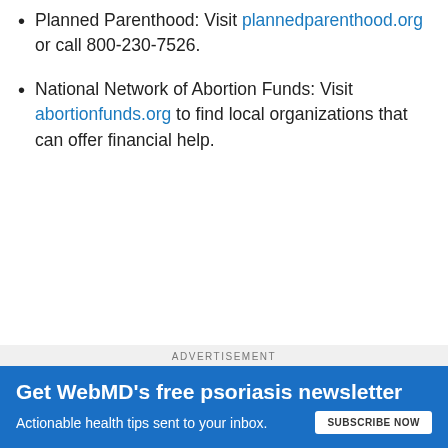Planned Parenthood: Visit plannedparenthood.org or call 800-230-7526.
National Network of Abortion Funds: Visit abortionfunds.org to find local organizations that can offer financial help.
ADVERTISEMENT
[Figure (infographic): WebMD advertisement banner with blue background. Text: 'Get WebMD's free psoriasis newsletter'. Subtext: 'Actionable health tips sent to your inbox.' with a 'SUBSCRIBE NOW' button.]